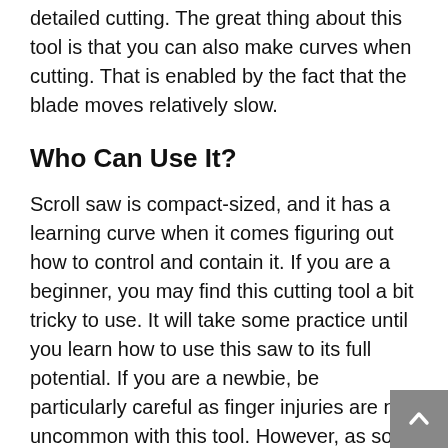detailed cutting. The great thing about this tool is that you can also make curves when cutting. That is enabled by the fact that the blade moves relatively slow.
Who Can Use It?
Scroll saw is compact-sized, and it has a learning curve when it comes figuring out how to control and contain it. If you are a beginner, you may find this cutting tool a bit tricky to use. It will take some practice until you learn how to use this saw to its full potential. If you are a newbie, be particularly careful as finger injuries are not uncommon with this tool. However, as soon as you learn to operate it properly, you can see that it can